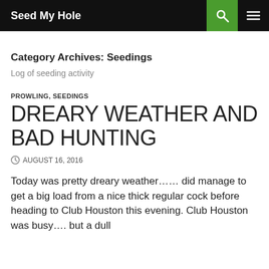Seed My Hole
Category Archives: Seedings
Log of seeding activity
PROWLING, SEEDINGS
DREARY WEATHER AND BAD HUNTING
AUGUST 16, 2016
Today was pretty dreary weather…… did manage to get a big load from a nice thick regular cock before heading to Club Houston this evening. Club Houston was busy…. but a dull